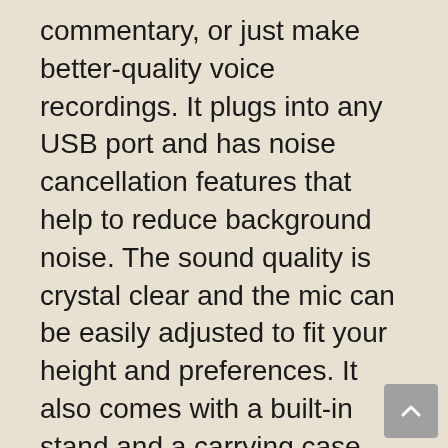commentary, or just make better-quality voice recordings. It plugs into any USB port and has noise cancellation features that help to reduce background noise. The sound quality is crystal clear and the mic can be easily adjusted to fit your height and preferences. It also comes with a built-in stand and a carrying case, making it easy to take with you wherever you go.
I highly recommend this microphone to anyone who’s looking for an affordable, high-quality option. It’s great for beginners and more experienced podcasters alike. The sound quality is excellent and it’s very easy to use. If you’re looking to start a podcast or improve your voice recordings, this is the mic for you.